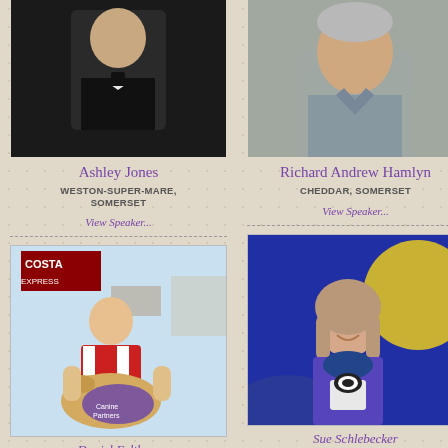[Figure (photo): Photo of Ashley Jones, man in tuxedo with military medal]
[Figure (photo): Photo of Richard Andrew Hamlyn, older man in grey shirt]
Ashley Jones
WESTON-SUPER-MARE, SOMERSET
View Speaker...
Richard Andrew Hamlyn
CHEDDAR, SOMERSET
View Speaker...
[Figure (photo): Photo of person in cycling jersey with a Labrador guide dog wearing a purple vest, Costa coffee shop in background]
[Figure (photo): Photo of smiling woman with shoulder-length hair, blue background with yellow circle]
Daniel Feltham
Sue Schlebecker